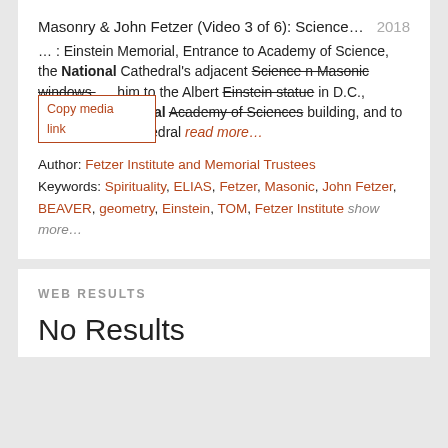Masonry & John Fetzer (Video 3 of 6): Science… 2018
... : Einstein Memorial, Entrance to Academy of Science, the National Cathedral's adjacent Science n Masonic windows. ... him to the Albert Einstein statue in D.C., outside the National Academy of Sciences building, and to the National Cathedral read more...
Author: Fetzer Institute and Memorial Trustees
Keywords: Spirituality, ELIAS, Fetzer, Masonic, John Fetzer, BEAVER, geometry, Einstein, TOM, Fetzer Institute show more...
WEB RESULTS
No Results